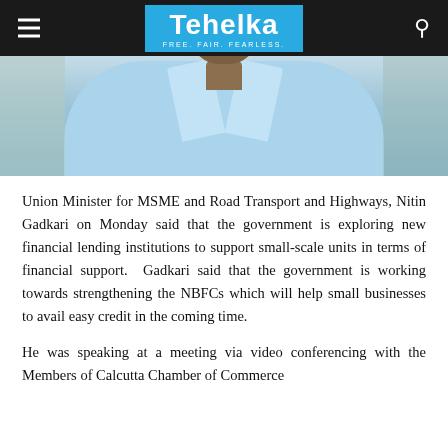Tehelka — FREE. FAIR. FEARLESS.
[Figure (photo): Close-up photo of a man wearing a light blue shirt, seated, visible from torso up, with a slightly blurred background.]
Union Minister for MSME and Road Transport and Highways, Nitin Gadkari on Monday said that the government is exploring new financial lending institutions to support small-scale units in terms of financial support.  Gadkari said that the government is working towards strengthening the NBFCs which will help small businesses to avail easy credit in the coming time.
He was speaking at a meeting via video conferencing with the Members of Calcutta Chamber of Commerce